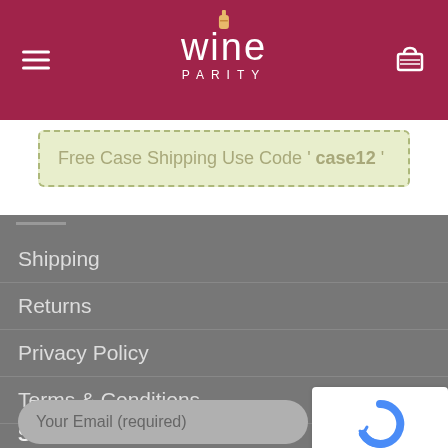Wine Parity
Free Case Shipping Use Code ' case12 '
Shipping
Returns
Privacy Policy
Terms & Conditions
SIGNUP FOR NEWSLETTER
Your Email (required)